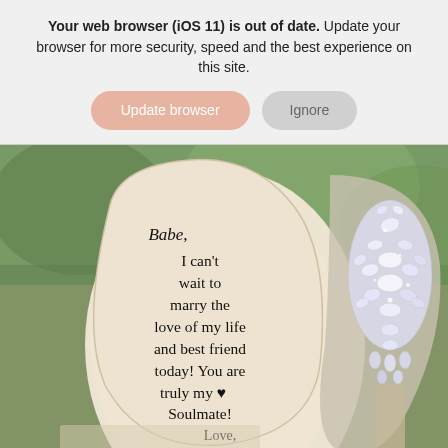Your web browser (iOS 11) is out of date. Update your browser for more security, speed and the best experience on this site.
[Figure (photo): Photo of the sole of a white bridal high-heel shoe with a handwritten message: 'Babe, I can't wait to marry the love of my life and best friend today! You are truly my soulmate! ♥ Love, your Husband'. Next to it is a heavily jeweled crystal/rhinestone heel of another bridal shoe, against a blurred green outdoor background.]